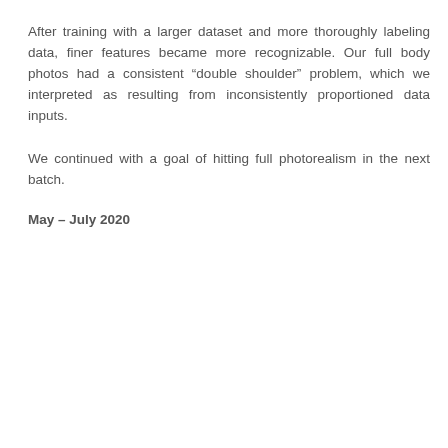After training with a larger dataset and more thoroughly labeling data, finer features became more recognizable. Our full body photos had a consistent “double shoulder” problem, which we interpreted as resulting from inconsistently proportioned data inputs.
We continued with a goal of hitting full photorealism in the next batch.
May – July 2020